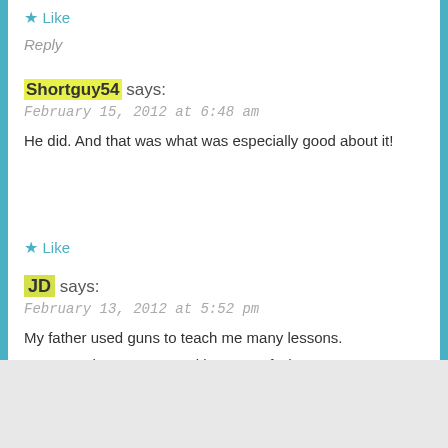★ Like
Reply
Shortguy54 says:
February 15, 2012 at 6:48 am
He did. And that was what was especially good about it!
★ Like
JD says:
February 13, 2012 at 5:52 pm
My father used guns to teach me many lessons.
Lessons about respect, taking care of what you own,
Advertisements
[Figure (screenshot): Jetpack advertisement banner with 'Back up your site' button]